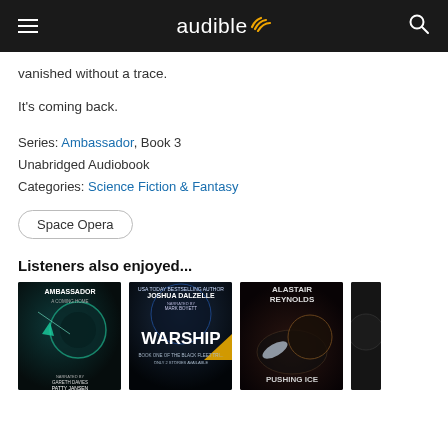audible
vanished without a trace.
It's coming back.
Series: Ambassador, Book 3
Unabridged Audiobook
Categories: Science Fiction & Fantasy
Space Opera
Listeners also enjoyed...
[Figure (photo): Book covers: Ambassador (Patty Jansen, narrated by Gareth Davies), Warship by Joshua Dalzelle (Book One of The Black Fleet Trilogy), Pushing Ice by Alastair Reynolds, and a partial fourth cover.]